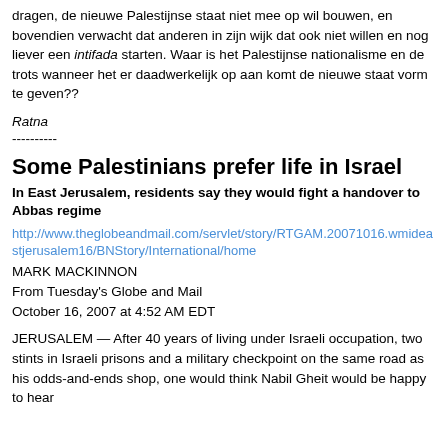dragen, de nieuwe Palestijnse staat niet mee op wil bouwen, en bovendien verwacht dat anderen in zijn wijk dat ook niet willen en nog liever een intifada starten. Waar is het Palestijnse nationalisme en de trots wanneer het er daadwerkelijk op aan komt de nieuwe staat vorm te geven??
Ratna
----------
Some Palestinians prefer life in Israel
In East Jerusalem, residents say they would fight a handover to Abbas regime
http://www.theglobeandmail.com/servlet/story/RTGAM.20071016.wmideastjerusalem16/BNStory/International/home
MARK MACKINNON
From Tuesday's Globe and Mail
October 16, 2007 at 4:52 AM EDT
JERUSALEM — After 40 years of living under Israeli occupation, two stints in Israeli prisons and a military checkpoint on the same road as his odds-and-ends shop, one would think Nabil Gheit would be happy to hear